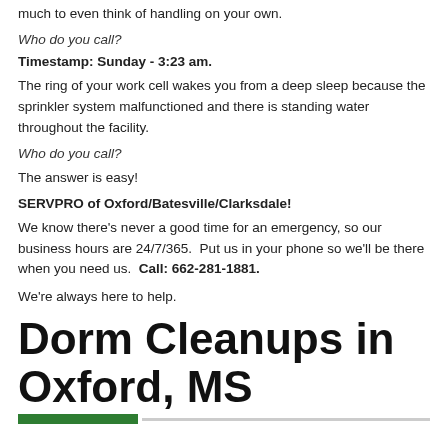much to even think of handling on your own.
Who do you call?
Timestamp: Sunday - 3:23 am.
The ring of your work cell wakes you from a deep sleep because the sprinkler system malfunctioned and there is standing water throughout the facility.
Who do you call?
The answer is easy!
SERVPRO of Oxford/Batesville/Clarksdale!
We know there's never a good time for an emergency, so our business hours are 24/7/365.  Put us in your phone so we'll be there when you need us.  Call: 662-281-1881.
We're always here to help.
Dorm Cleanups in Oxford, MS